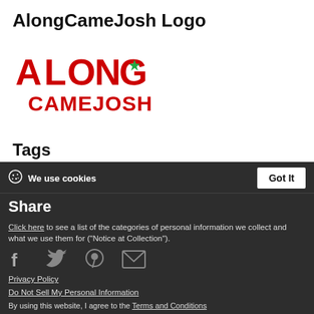AlongCameJosh Logo
[Figure (logo): AlongCameJosh logo — bold red western-style text reading ALONG on top line and CAMEJOSH on bottom line, with a small green star inside the letter G]
Tags
2   3   logo
We use cookies | Got It | Share | Click here to see a list of the categories of personal information we collect and what we use them for ("Notice at Collection"). | Privacy Policy | Do Not Sell My Personal Information | By using this website, I agree to the Terms and Conditions